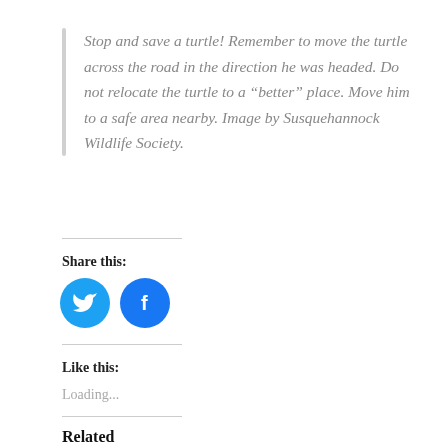Stop and save a turtle! Remember to move the turtle across the road in the direction he was headed. Do not relocate the turtle to a “better” place. Move him to a safe area nearby. Image by Susquehannock Wildlife Society.
Share this:
[Figure (other): Twitter and Facebook social share icon buttons (blue circles with bird and f logos)]
Like this:
Loading...
Related